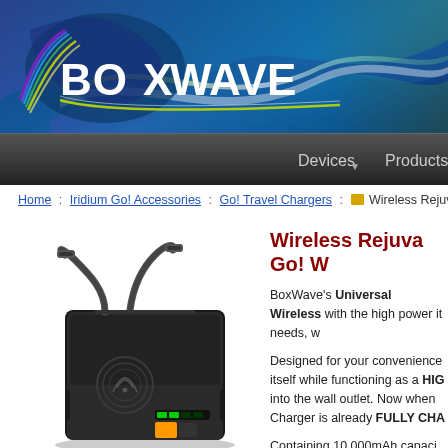[Figure (logo): BoxWave logo on dark blue gradient background with navigation bar showing Devices and Products]
Home : Iridium Go! Accessories : Go! Travel Chargers : [folder] Wireless Rejuva...
Wireless Rejuva Go! W...
BoxWave's Universal Wireless with the high power it needs, w...
Designed for your convenience itself while functioning as a HIGH into the wall outlet. Now when Charger is already FULLY CHA...
Containing 10,000mAh capaci... up to 3 TIMES. Suitable for all may need charging often.
Unlike other portable battery b... displays its remaining battery l... the battery. This allows you to battery you have remained bef...
[Figure (photo): Black portable wireless power bank/charger with built-in USB-C cables and wireless charging pad, shown at an angle]